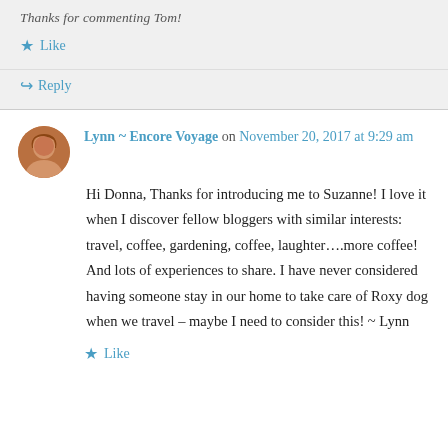Thanks for commenting Tom!
★ Like
↪ Reply
Lynn ~ Encore Voyage on November 20, 2017 at 9:29 am
Hi Donna, Thanks for introducing me to Suzanne! I love it when I discover fellow bloggers with similar interests: travel, coffee, gardening, coffee, laughter….more coffee! And lots of experiences to share. I have never considered having someone stay in our home to take care of Roxy dog when we travel – maybe I need to consider this! ~ Lynn
★ Like